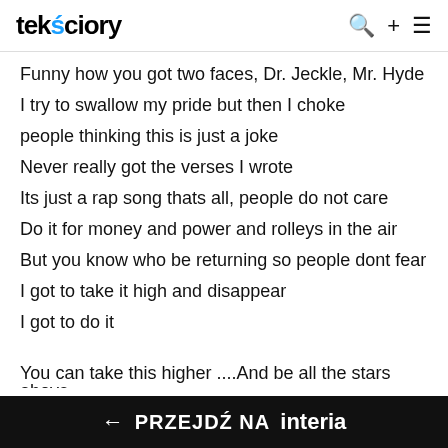tekściory
Funny how you got two faces, Dr. Jeckle, Mr. Hyde
I try to swallow my pride but then I choke
people thinking this is just a joke
Never really got the verses I wrote
Its just a rap song thats all, people do not care
Do it for money and power and rolleys in the air
But you know who be returning so people dont fear
I got to take it high and disappear
I got to do it
You can take this higher ....And be all the stars above
You can take this higher ... then I can
← PRZEJDŹ NA interia